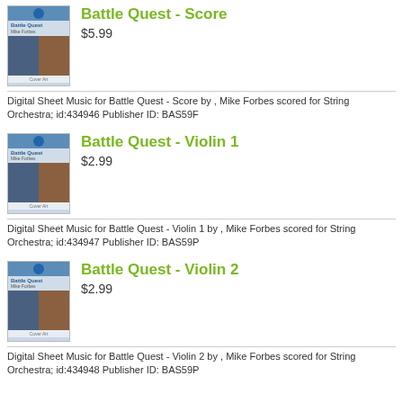[Figure (illustration): Cover image of Battle Quest - Score sheet music book]
Battle Quest - Score
$5.99
Digital Sheet Music for Battle Quest - Score by , Mike Forbes scored for String Orchestra; id:434946 Publisher ID: BAS59F
[Figure (illustration): Cover image of Battle Quest - Violin 1 sheet music book]
Battle Quest - Violin 1
$2.99
Digital Sheet Music for Battle Quest - Violin 1 by , Mike Forbes scored for String Orchestra; id:434947 Publisher ID: BAS59P
[Figure (illustration): Cover image of Battle Quest - Violin 2 sheet music book]
Battle Quest - Violin 2
$2.99
Digital Sheet Music for Battle Quest - Violin 2 by , Mike Forbes scored for String Orchestra; id:434948 Publisher ID: BAS59P